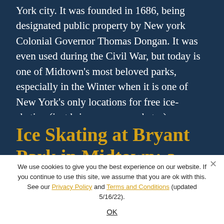York city. It was founded in 1686, being designated public property by New york Colonial Governor Thomas Dongan. It was even used during the Civil War, but today is one of Midtown's most beloved parks, especially in the Winter when it is one of New York's only locations for free ice-skating (just bring your own skates).
Ice Skating at Bryant Park in Midtown: a Fun Todo
We use cookies to give you the best experience on our website. If you continue to use this site, we assume that you are ok with this. See our Privacy Policy and Terms and Conditions (updated 5/16/22).
OK